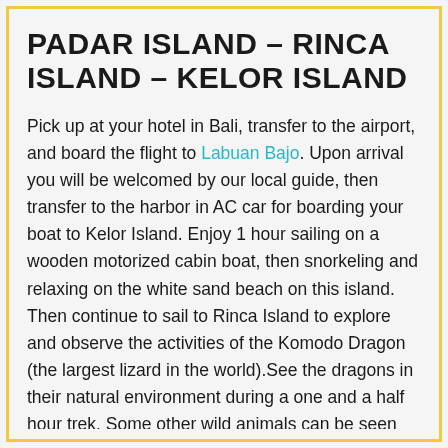PADAR ISLAND – RINCA ISLAND – KELOR ISLAND
Pick up at your hotel in Bali, transfer to the airport, and board the flight to Labuan Bajo. Upon arrival you will be welcomed by our local guide, then transfer to the harbor in AC car for boarding your boat to Kelor Island. Enjoy 1 hour sailing on a wooden motorized cabin boat, then snorkeling and relaxing on the white sand beach on this island. Then continue to sail to Rinca Island to explore and observe the activities of the Komodo Dragon (the largest lizard in the world).See the dragons in their natural environment during a one and a half hour trek. Some other wild animals can be seen such as: wild pigs, wild buffaloes, wild horses, Timor deer and monkeys. Back on the boat for lunch and sailing to Padar Island. On arrival, do afternoon trekking on the island to see the sunset and amazing view. Dinner and stay overnight